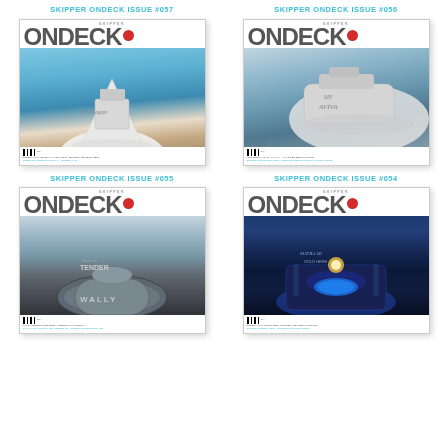SKIPPER ONDECK ISSUE #057
SKIPPER ONDECK ISSUE #056
[Figure (photo): Cover of Skipper Ondeck Issue #055 showing a large white yacht bow-on against blue sky]
[Figure (photo): Cover of Skipper Ondeck Issue #054 showing a large white motor yacht at sea]
SKIPPER ONDECK ISSUE #055
SKIPPER ONDECK ISSUE #054
[Figure (photo): Cover of Skipper Ondeck Issue #053 showing Wally tender from above]
[Figure (photo): Cover of Skipper Ondeck Issue #052 showing superyacht deck at night with blue lighting]